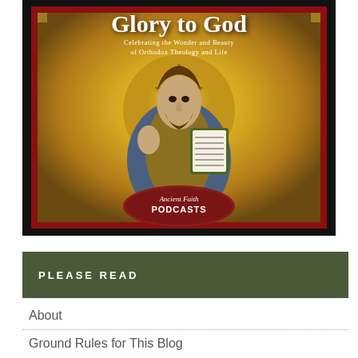[Figure (illustration): Podcast cover art for 'Glory to God' podcast by Ancient Faith Podcasts. Features a Byzantine mosaic image of Christ Pantocrator holding an open book, with golden mosaic background. Text overlay reads 'GLORY TO GOD' and subtitle 'Celebrating the wonder and beauty of Orthodox theology and life'. Ancient Faith Podcasts oval logo badge at the bottom of the image.]
PLEASE READ
About
Ground Rules for This Blog